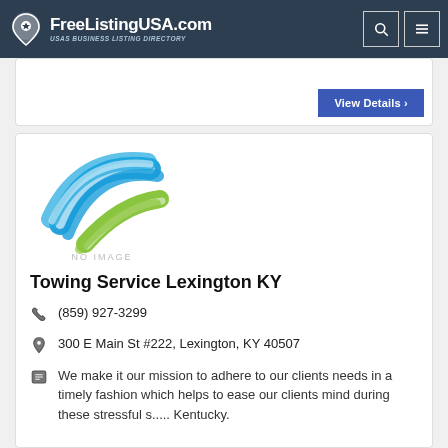FreeListingUSA.com — USAs BUSINESS LISTING DIRECTORY
View Details >
[Figure (logo): FreeListingUSA.com business listing logo placeholder — blue and green swoosh graphic with NO IMAGE label]
Towing Service Lexington KY
(859) 927-3299
300 E Main St #222, Lexington, KY 40507
We make it our mission to adhere to our clients needs in a timely fashion which helps to ease our clients mind during these stressful s..... Kentucky.